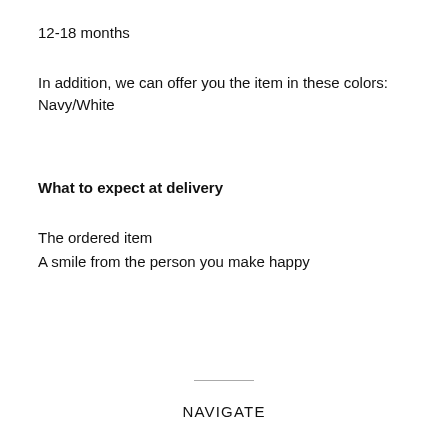12-18 months
In addition, we can offer you the item in these colors:
Navy/White
What to expect at delivery
The ordered item
A smile from the person you make happy
NAVIGATE